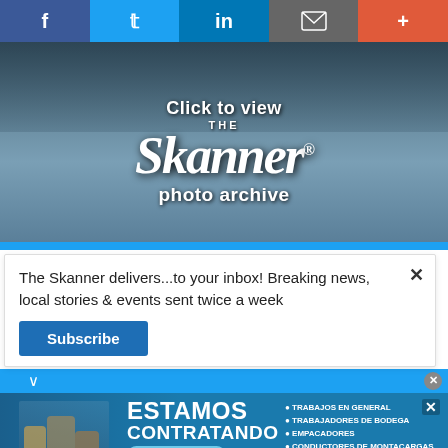[Figure (screenshot): Social media sharing bar with Facebook, Twitter, LinkedIn, email/home, and plus buttons]
[Figure (screenshot): The Skanner newspaper photo archive promotional banner with group photo overlay text saying 'Click to view THE Skanner photo archive']
The Skanner delivers...to your inbox! Breaking news, local stories & events sent twice a week
Subscribe
[Figure (screenshot): Constant Staffing ad in Spanish: ESTAMOS CONTRATANDO BILINGUES, listing jobs including TRABAJOS EN GENERAL, TRABAJADORES DE BODEGA, EMPACADORES, CONDUCTORES DE MONTACARGAS, VENTAS AL POR MENOR, PERSONAL ADMINISTRATIVO, phone 713-714-8909]